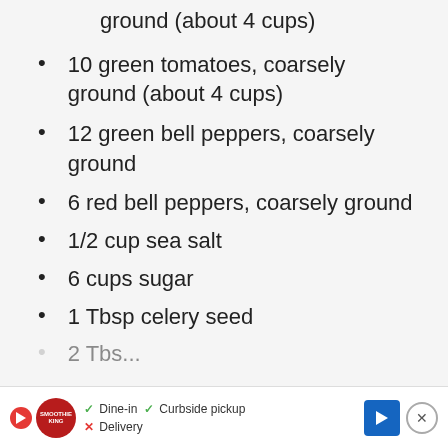ground (about 4 cups)
10 green tomatoes, coarsely ground (about 4 cups)
12 green bell peppers, coarsely ground
6 red bell peppers, coarsely ground
1/2 cup sea salt
6 cups sugar
1 Tbsp celery seed
2 Tbsp...